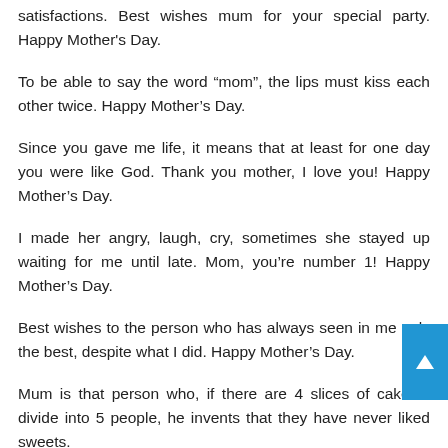satisfactions. Best wishes mum for your special party. Happy Mother’s Day.
To be able to say the word “mom”, the lips must kiss each other twice. Happy Mother’s Day.
Since you gave me life, it means that at least for one day you were like God. Thank you mother, I love you! Happy Mother’s Day.
I made her angry, laugh, cry, sometimes she stayed up waiting for me until late. Mom, you’re number 1! Happy Mother’s Day.
Best wishes to the person who has always seen in me only the best, despite what I did. Happy Mother’s Day.
Mum is that person who, if there are 4 slices of cake to divide into 5 people, he invents that they have never liked sweets.